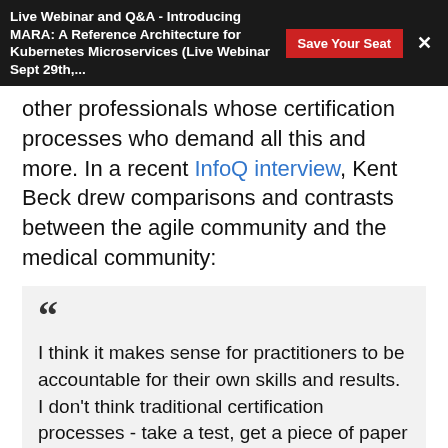Live Webinar and Q&A - Introducing MARA: A Reference Architecture for Kubernetes Microservices (Live Webinar Sept 29th,...
other professionals whose certification processes who demand all this and more. In a recent InfoQ interview, Kent Beck drew comparisons and contrasts between the agile community and the medical community:
I think it makes sense for practitioners to be accountable for their own skills and results. I don't think traditional certification processes - take a test, get a piece of paper - do this. On the other hand, other professions have meaningful certifications. If you are a board certified physician, it means something. The process is very different from the certifications in computing, though. It takes a long time, it's expensive, the examiners are experts, it